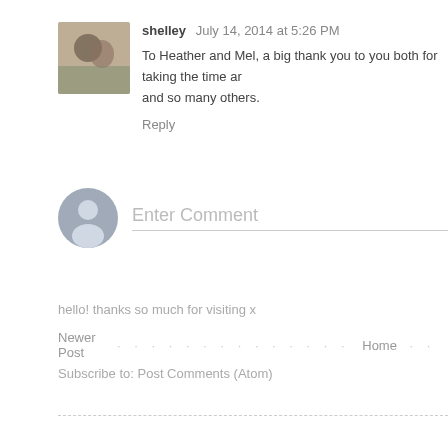[Figure (photo): Small profile photo of a person/couple]
shelley  July 14, 2014 at 5:26 PM
To Heather and Mel, a big thank you to you both for taking the time and so many others.
Reply
[Figure (illustration): Default user avatar silhouette (grey circle with person icon)]
Enter Comment
hello! thanks so much for visiting x
Newer Post
Home
Subscribe to: Post Comments (Atom)